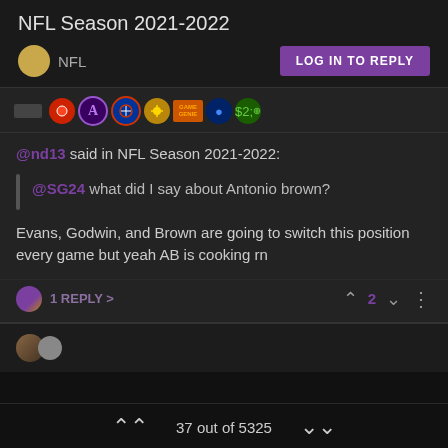NFL Season 2021-2022
NFL  [LOG IN TO REPLY]
[Figure (screenshot): Row of emoji/badge icons: red circle, purple A (Avengers), Captain America shield, golden sunburst, orange Game Genie, PlayStation logo, Xbox logo]
@nd13 said in NFL Season 2021-2022:
@SG24 what did I say about Antonio brown?
Evans, Godwin, and Brown are going to switch this position every game but yeah AB is cooking rn
1 REPLY >   2
[Figure (screenshot): Bottom of next comment partially visible with two avatars]
37 out of 5325